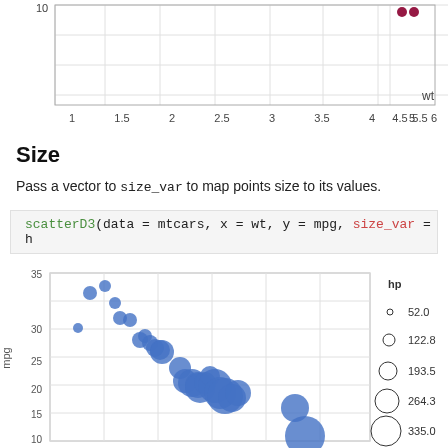[Figure (continuous-plot): Top portion of a scatter plot showing wt on x-axis (1 to 6) and y-axis value of 10 visible. Two dark red/maroon dots near x=5.2, y=10. X-axis label 'wt' visible at right.]
Size
Pass a vector to size_var to map points size to its values.
[Figure (screenshot): Code block showing: scatterD3(data = mtcars, x = wt, y = mpg, size_var = h]
[Figure (continuous-plot): Bubble scatter plot with x-axis wt (weight) and y-axis mpg. Blue filled circles of varying sizes representing hp values. Y-axis shows values 10-35, x-axis from ~1.5 to ~5.5. Legend on right shows hp scale: 52.0, 122.8, 193.5, 264.3, 335.0 with increasing circle sizes. Points show negative correlation between wt and mpg.]